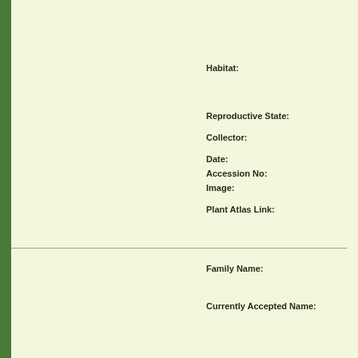Habitat:
Reproductive State:
Collector:
Date:
Accession No:
Image:
Plant Atlas Link:
[Figure (photo): Herbarium specimen photograph showing a plant with small leaves and thin branching stems on a white background with a label and blue scale bar]
Family Name:
Currently Accepted Name: